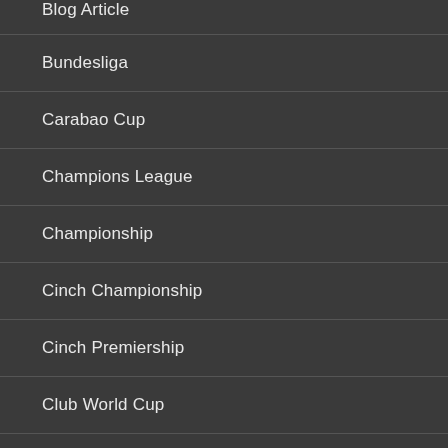Blog Article
Bundesliga
Carabao Cup
Champions League
Championship
Cinch Championship
Cinch Premiership
Club World Cup
Community Shield